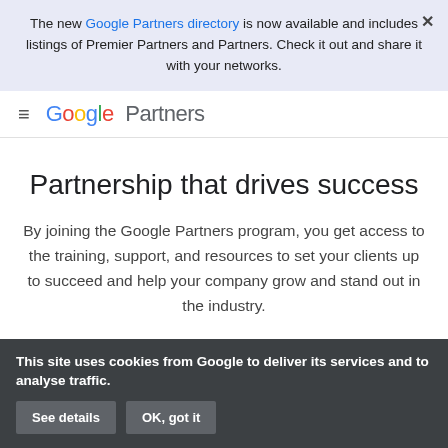The new Google Partners directory is now available and includes listings of Premier Partners and Partners. Check it out and share it with your networks.
[Figure (logo): Google Partners logo with hamburger menu icon]
Partnership that drives success
By joining the Google Partners program, you get access to the training, support, and resources to set your clients up to succeed and help your company grow and stand out in the industry.
This site uses cookies from Google to deliver its services and to analyse traffic. See details  OK, got it